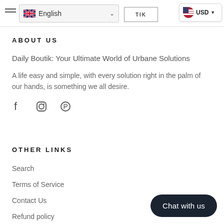English | Daily Boutik | USD
ABOUT US
Daily Boutik: Your Ultimate World of Urbane Solutions
A life easy and simple, with every solution right in the palm of our hands, is something we all desire.
[Figure (other): Social media icons: Facebook, Instagram, Pinterest]
OTHER LINKS
Search
Terms of Service
Contact Us
Refund policy
Chat with us